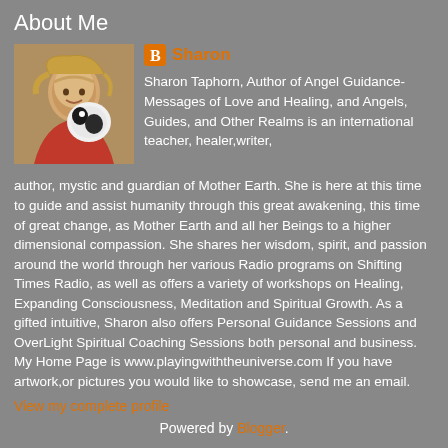About Me
[Figure (photo): Profile photo of Sharon, a woman with blonde hair holding a black and white dog]
Sharon
Sharon Taphorn, Author of Angel Guidance-Messages of Love and Healing, and Angels, Guides, and Other Realms is an international teacher, healer,writer, author, mystic and guardian of Mother Earth. She is here at this time to guide and assist humanity through this great awakening, this time of great change, as Mother Earth and all her Beings to a higher dimensional compassion. She shares her wisdom, spirit, and passion around the world through her various Radio programs on Shifting Times Radio, as well as offers a variety of workshops on Healing, Expanding Consciousness, Meditation and Spiritual Growth. As a gifted intuitive, Sharon also offers Personal Guidance Sessions and OverLight Spiritual Coaching Sessions both personal and business. My Home Page is www.playingwiththeuniverse.com If you have artwork,or pictures you would like to showcase, send me an email.
View my complete profile
Powered by Blogger.